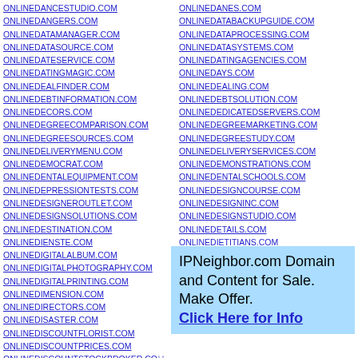ONLINEDANCESTUDIO.COM
ONLINEDANGERS.COM
ONLINEDATAMANAGER.COM
ONLINEDATASOURCE.COM
ONLINEDATESERVICE.COM
ONLINEDATINGMAGIC.COM
ONLINEDEALFINDER.COM
ONLINEDEBTINFORMATION.COM
ONLINEDECORS.COM
ONLINEDEGREECOMPARISON.COM
ONLINEDEGREESOURCES.COM
ONLINEDELIVERYMENU.COM
ONLINEDEMOCRAT.COM
ONLINEDENTALEQUIPMENT.COM
ONLINEDEPRESSIONTESTS.COM
ONLINEDESIGNEROUTLET.COM
ONLINEDESIGNSOLUTIONS.COM
ONLINEDESTINATION.COM
ONLINEDIENSTE.COM
ONLINEDIGITALALBUM.COM
ONLINEDIGITALPHOTOGRAPHY.COM
ONLINEDIGITALPRINTING.COM
ONLINEDIMENSION.COM
ONLINEDIRECTORS.COM
ONLINEDISASTER.COM
ONLINEDISCOUNTFLORIST.COM
ONLINEDISCOUNTPRICES.COM
ONLINEDISCOUNTSTOCKBROKER.COM
ONLINEDANES.COM
ONLINEDATABACKUPGUIDE.COM
ONLINEDATAPROCESSING.COM
ONLINEDATASYSTEMS.COM
ONLINEDATINGAGENCIES.COM
ONLINEDAYS.COM
ONLINEDEALING.COM
ONLINEDEBTSOLUTION.COM
ONLINEDEDICATED SERVERS.COM
ONLINEDEGREEMARKETING.COM
ONLINEDEGREESTUDY.COM
ONLINEDELIVERYSERVICES.COM
ONLINEDEMONSTRATIONS.COM
ONLINEDENTALSCHOOLS.COM
ONLINEDESIGNCOURSE.COM
ONLINEDESIGNINC.COM
ONLINEDESIGNSTUDIO.COM
ONLINEDETAILS.COM
ONLINEDIETITIANS.COM
ONLINEDIGITALMARKET.COM
ONLINEDIGITALPHOTOPRINTS.COM
ONLINEDIGITALSERVICE.COM
ONLINEDININGGUIDE.COM
IPNeighbor.com Domain and Content for Sale. Make Offer. Click Here for Info